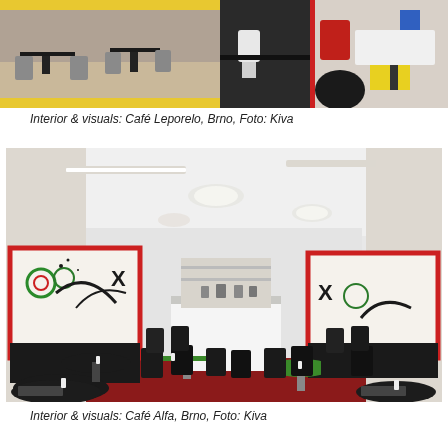[Figure (photo): Horizontal strip of three cafe interior photos showing tables, chairs, and colorful geometric decor at Café Leporelo, Brno]
Interior & visuals: Café Leporelo, Brno, Foto: Kiva
[Figure (photo): Interior photo of Café Alfa, Brno showing red floor, black tables and chairs, large abstract artworks on walls, white ceiling with round lights and track lighting, central bar area]
Interior & visuals: Café Alfa, Brno, Foto: Kiva